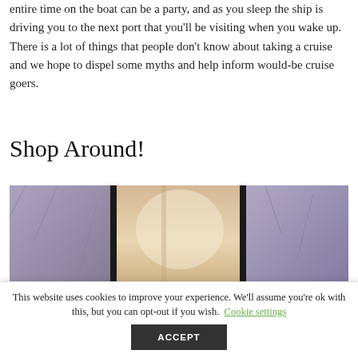entire time on the boat can be a party, and as you sleep the ship is driving you to the next port that you'll be visiting when you wake up. There is a lot of things that people don't know about taking a cruise and we hope to dispel some myths and help inform would-be cruise goers.
Shop Around!
[Figure (photo): A photograph showing the interior of what appears to be a shop or store with display cases. Muted purple/grey tones visible on sides, warm beige/tan tones in the center reflecting light.]
This website uses cookies to improve your experience. We'll assume you're ok with this, but you can opt-out if you wish. Cookie settings ACCEPT